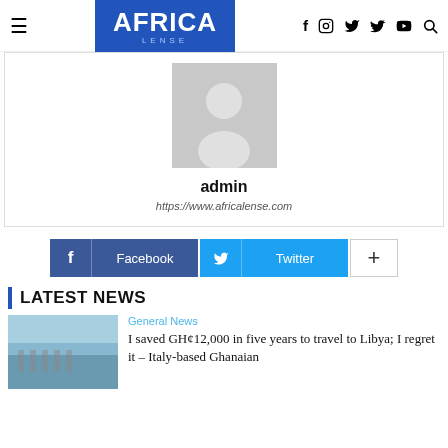AFRICA LENSE — navigation header with hamburger menu, logo, and social icons (f, instagram, twitter, youtube, search)
[Figure (photo): Default user avatar — grey silhouette of a person on a grey background square]
admin
https://www.africalense.com
[Figure (infographic): Facebook share button (blue) and Twitter share button (cyan) and a '+' more button]
LATEST NEWS
General News
I saved GH¢12,000 in five years to travel to Libya; I regret it – Italy-based Ghanaian